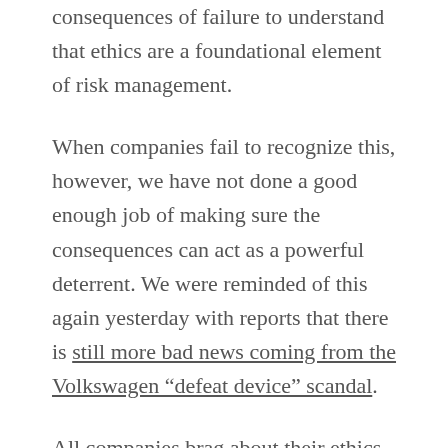consequences of failure to understand that ethics are a foundational element of risk management.
When companies fail to recognize this, however, we have not done a good enough job of making sure the consequences can act as a powerful deterrent. We were reminded of this again yesterday with reports that there is still more bad news coming from the Volkswagen “defeat device” scandal.
All companies brag about their ethics and just about all of them have some statement of their principles posted somewhere. Wells Fargo has its motto on the wall of every bank: “There is one very powerful business rule. It is concentrated in the word courtesy.” That did not stop them from a series of frauds and scandals. Putting them in the charter won’t make a